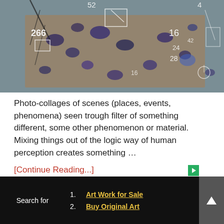[Figure (photo): Aerial or overhead photo showing scattered dark leaf or petal shapes on a brownish ground, with white handwritten numbers and markings overlaid (e.g., 266, 16, 52, 24, 28, 42). Some areas show tree branches and blue-purple blotches.]
Photo-collages of scenes (places, events, phenomena) seen trough filter of something different, some other phenomenon or material. Mixing things out of the logic way of human perception creates something …
[Continue Reading...]
The Unseen Beauty and the Story Behind.
Search for
1. Art Work for Sale
2. Buy Original Art